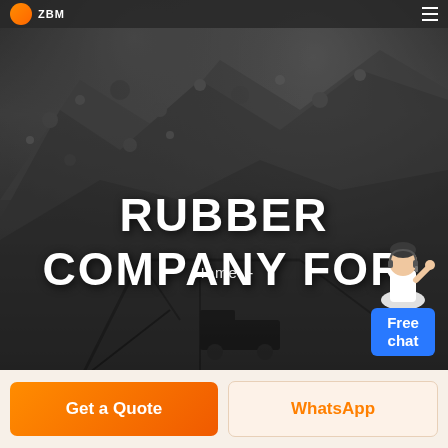[Figure (screenshot): Mining/quarry background hero image with dark rocky mountain and industrial equipment silhouette. Grayscale industrial scene.]
RUBBER COMPANY FOR
Home  -
[Figure (illustration): Free chat widget with person wearing headset and blue chat bubble button labeled 'Free chat']
Get a Quote
WhatsApp